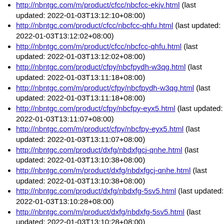http://nbntgc.com/m/product/cfcc/nbcfcc-ekjv.html (last updated: 2022-01-03T13:12:10+08:00)
http://nbntgc.com/product/cfcc/nbcfcc-qhfu.html (last updated: 2022-01-03T13:12:02+08:00)
http://nbntgc.com/m/product/cfcc/nbcfcc-qhfu.html (last updated: 2022-01-03T13:12:02+08:00)
http://nbntgc.com/product/cfpy/nbcfpydh-w3qg.html (last updated: 2022-01-03T13:11:18+08:00)
http://nbntgc.com/m/product/cfpy/nbcfpydh-w3qg.html (last updated: 2022-01-03T13:11:18+08:00)
http://nbntgc.com/product/cfpy/nbcfpy-eyx5.html (last updated: 2022-01-03T13:11:07+08:00)
http://nbntgc.com/m/product/cfpy/nbcfpy-eyx5.html (last updated: 2022-01-03T13:11:07+08:00)
http://nbntgc.com/product/dxfg/nbdxfgcj-qnhe.html (last updated: 2022-01-03T13:10:38+08:00)
http://nbntgc.com/m/product/dxfg/nbdxfgcj-qnhe.html (last updated: 2022-01-03T13:10:38+08:00)
http://nbntgc.com/product/dxfg/nbdxfg-5sv5.html (last updated: 2022-01-03T13:10:28+08:00)
http://nbntgc.com/m/product/dxfg/nbdxfg-5sv5.html (last updated: 2022-01-03T13:10:28+08:00)
http://nbntgc.com/product/bxgmhg/nbbxgmhgjg-9gtz.html (last updated: 2022-01-03T13:09:56+08:00)